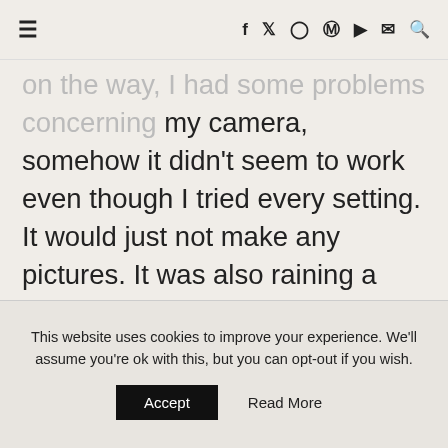≡  f  🐦  📷  𝗣  ▶  ✉  🔍
on the way, I had some problems concerning my camera, somehow it didn't seem to work even though I tried every setting. It would just not make any pictures. It was also raining a little again and I wasn't in the best mood. I ended up taking out the battery and putting it back in and that somehow resolved the issue. Now I could continue walking. I kept going straight since I seemed to believe that was the direction where the city centre was located.
This website uses cookies to improve your experience. We'll assume you're ok with this, but you can opt-out if you wish.
Accept   Read More